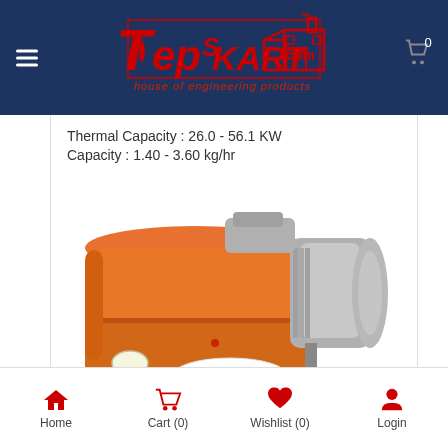[Figure (logo): TepsKart.com logo - House of engineering products, red text on dark navy blue background]
Thermal Capacity : 26.0 - 56.1 KW
Capacity : 1.40 - 3.60 kg/hr
[Figure (photo): Orange and silver Baltur industrial oil burner product photo]
Home  Cart (0)  Wishlist (0)  Login